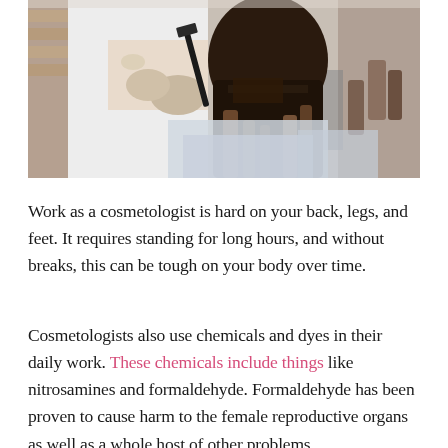[Figure (photo): A hairdresser wearing gloves applies hair dye to the back of a client's wet dark hair using a brush, in a salon setting.]
Work as a cosmetologist is hard on your back, legs, and feet. It requires standing for long hours, and without breaks, this can be tough on your body over time.
Cosmetologists also use chemicals and dyes in their daily work. These chemicals include things like nitrosamines and formaldehyde. Formaldehyde has been proven to cause harm to the female reproductive organs as well as a whole host of other problems.